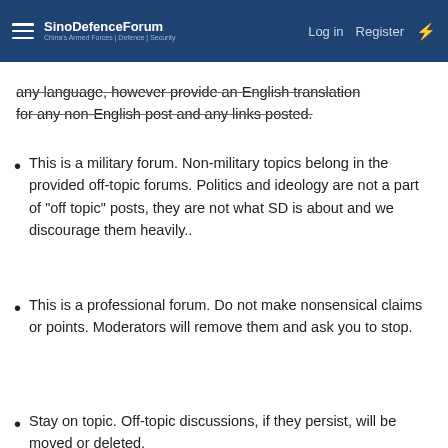SinoDefenceForum | Log in | Register
any language, however provide an English translation for any non-English post and any links posted.
This is a military forum. Non-military topics belong in the provided off-topic forums. Politics and ideology are not a part of "off topic" posts, they are not what SD is about and we discourage them heavily..
This is a professional forum. Do not make nonsensical claims or points. Moderators will remove them and ask you to stop.
Stay on topic. Off-topic discussions, if they persist, will be moved or deleted.